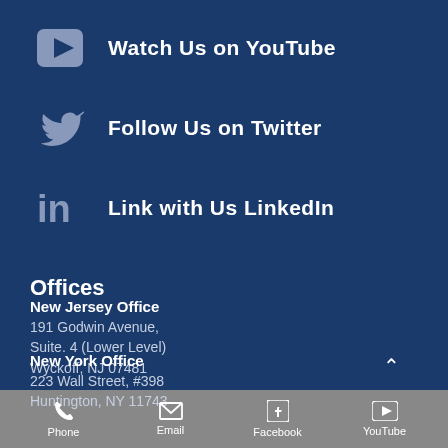Watch Us on YouTube
Follow Us on Twitter
Link with Us LinkedIn
Offices
New Jersey Office
191 Godwin Avenue,
Suite. 4 (Lower Level)
Wyckoff, NJ 07481
New York Office
223 Wall Street, #398
Huntington, NY 11743
Phone  Email  Facebook  YouTube